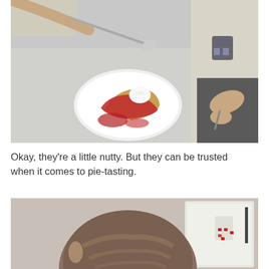[Figure (photo): Close-up photo of a white plate with a slice of pie topped with red berry sauce and a scoop of whipped cream, on a gray countertop. Two people's hands holding forks/spoons are visible around the plate, one person wearing a light uniform shirt.]
Okay, they're a little nutty. But they can be trusted when it comes to pie-tasting.
[Figure (photo): Photo showing the back of a person's head with brown hair, viewed from behind, with a white cabinet or shelf visible in the background with some items on it.]